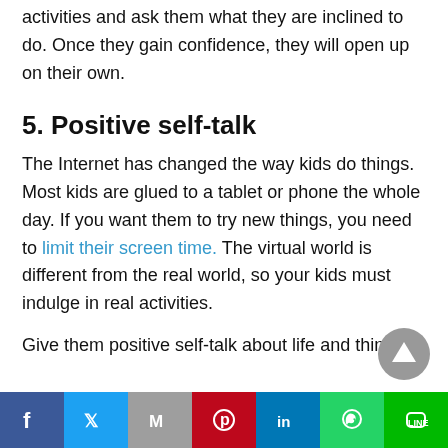activities and ask them what they are inclined to do. Once they gain confidence, they will open up on their own.
5. Positive self-talk
The Internet has changed the way kids do things. Most kids are glued to a tablet or phone the whole day. If you want them to try new things, you need to limit their screen time. The virtual world is different from the real world, so your kids must indulge in real activities.
Give them positive self-talk about life and things
Facebook Twitter Gmail Pinterest LinkedIn WhatsApp LINE